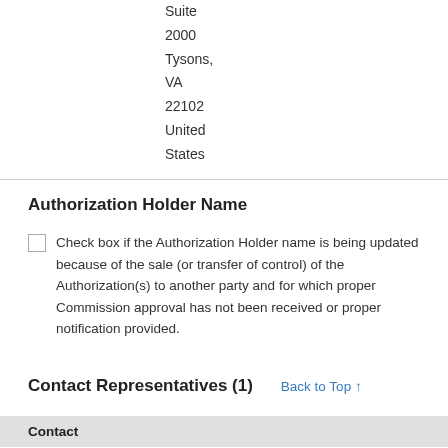Suite
2000
Tysons,
VA
22102
United
States
Authorization Holder Name
Check box if the Authorization Holder name is being updated because of the sale (or transfer of control) of the Authorization(s) to another party and for which proper Commission approval has not been received or proper notification provided.
Contact Representatives (1)
| Contact |
| --- |